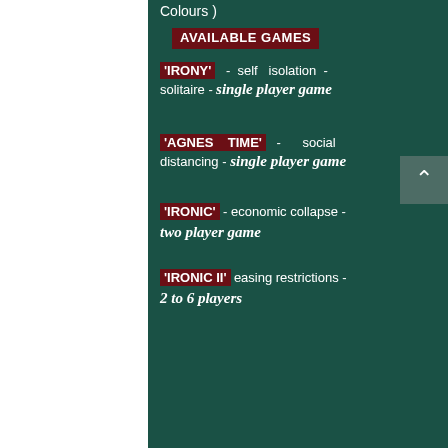Colours )
AVAILABLE GAMES
'IRONY' - self isolation - solitaire - single player game
'AGNES TIME' - social distancing - single player game
'IRONIC' - economic collapse - two player game
'IRONIC II' easing restrictions - 2 to 6 players